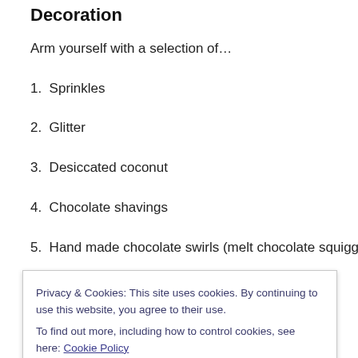Decoration
Arm yourself with a selection of…
1. Sprinkles
2. Glitter
3. Desiccated coconut
4. Chocolate shavings
5. Hand made chocolate swirls (melt chocolate squiggle it
6. Pains
Privacy & Cookies: This site uses cookies. By continuing to use this website, you agree to their use.
To find out more, including how to control cookies, see here: Cookie Policy
Close and accept